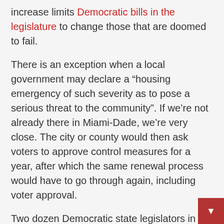increase limits Democratic bills in the legislature to change those that are doomed to fail.
There is an exception when a local government may declare a “housing emergency of such severity as to pose a serious threat to the community”. If we’re not already there in Miami-Dade, we’re very close. The city or county would then ask voters to approve control measures for a year, after which the same renewal process would have to go through again, including voter approval.
Two dozen Democratic state legislators in December signed a letter He called on Gov. Ron DeSantis to declare a state of emergency over the “ongoing affordable housing crisis” and to